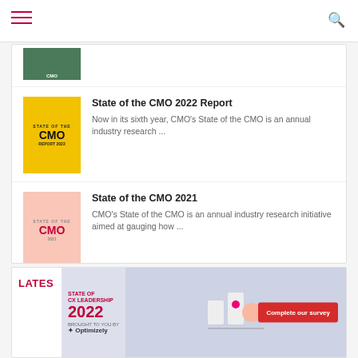Navigation bar with hamburger menu and search icon
[Figure (illustration): Partially visible book cover (green/teal) at top of list]
State of the CMO 2022 Report
Now in its sixth year, CMO's State of the CMO is an annual industry research ...
State of the CMO 2021
CMO's State of the CMO is an annual industry research initiative aimed at gauging how ...
State of CX Leadership 2021
CMO's State of CX leadership survey is a new annual research initiative gauging the state ...
[Figure (screenshot): Bottom advertisement banner: STATE OF CX LEADERSHIP 2022, Complete our survey button, Brought to you by Optimizely]
LATES